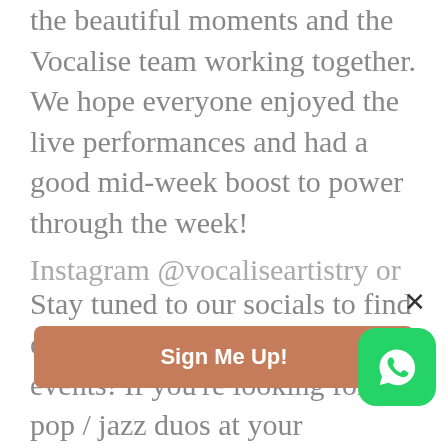the beautiful moments and the Vocalise team working together. We hope everyone enjoyed the live performances and had a good mid-week boost to power through the week!
Stay tuned to our socials to find out more on our upcoming events! If you're looking for our pop / jazz duos at your upcoming event, do enquire with us on our
Instagram @vocaliseartistry or the...
[Figure (other): Close button (×) overlay UI element]
[Figure (other): Sign Me Up! button - brownish-orange rounded rectangle CTA button]
[Figure (other): WhatsApp icon button - green rounded square with WhatsApp phone logo in white]